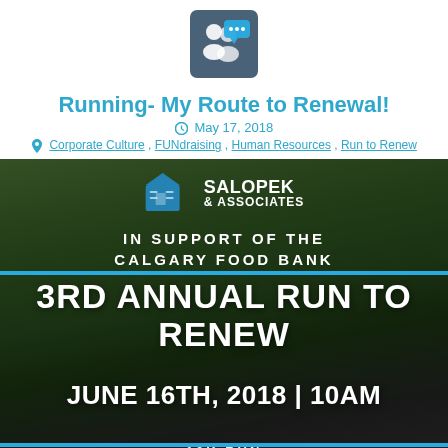[Figure (logo): User/chat icon in dark blue-grey rounded square box]
Running- My Route to Renewal!
May 17, 2018
Corporate Culture , FUNdraising , Human Resources , Run to Renew
[Figure (photo): Event promotional banner photo. Group of people walking/running outdoors. Salopek & Associates logo. Text: IN SUPPORT OF THE CALGARY FOOD BANK. 3RD ANNUAL RUN TO RENEW. JUNE 16TH, 2018 | 10AM. 10K RUN. FREE REGISTRATION.]